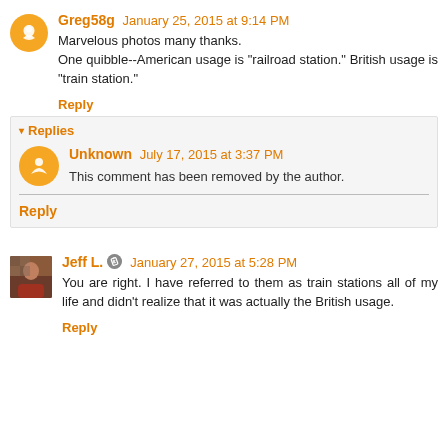Greg58g  January 25, 2015 at 9:14 PM
Marvelous photos many thanks.
One quibble--American usage is "railroad station." British usage is "train station."
Reply
Replies
Unknown  July 17, 2015 at 3:37 PM
This comment has been removed by the author.
Reply
Jeff L.  January 27, 2015 at 5:28 PM
You are right. I have referred to them as train stations all of my life and didn't realize that it was actually the British usage.
Reply